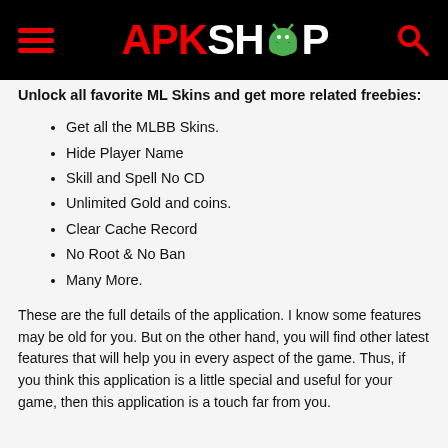APKSHOP
Unlock all favorite ML Skins and get more related freebies:
Get all the MLBB Skins.
Hide Player Name
Skill and Spell No CD
Unlimited Gold and coins.
Clear Cache Record
No Root & No Ban
Many More.
These are the full details of the application. I know some features may be old for you. But on the other hand, you will find other latest features that will help you in every aspect of the game. Thus, if you think this application is a little special and useful for your game, then this application is a touch far from you.